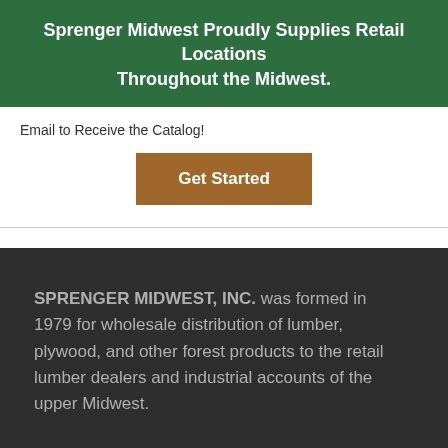Sprenger Midwest Proudly Supplies Retail Locations Throughout the Midwest.
Email to Receive the Catalog!
Get Started
SPRENGER MIDWEST, INC. was formed in 1979 for wholesale distribution of lumber, plywood, and other forest products to the retail lumber dealers and industrial accounts of the upper Midwest.